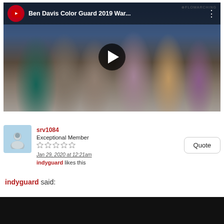[Figure (screenshot): YouTube video thumbnail showing Ben Davis Color Guard 2019 War... with people dancing in colorful outfits on a gym floor, with a play button overlay and FloMarching watermark]
srv1084
Exceptional Member
Jan 29, 2020 at 12:21am
indyguard likes this
indyguard said: